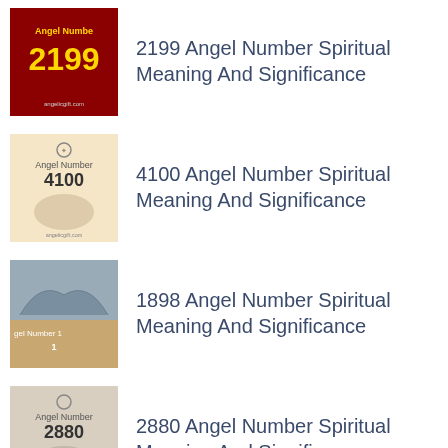2199 Angel Number Spiritual Meaning And Significance
4100 Angel Number Spiritual Meaning And Significance
1898 Angel Number Spiritual Meaning And Significance
2880 Angel Number Spiritual Meaning And Significance
7079 Angel Number Spiritual Meaning And Significance